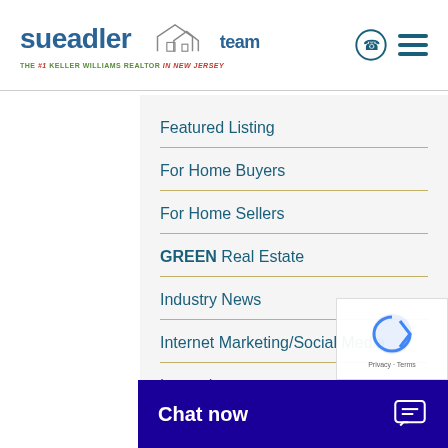[Figure (logo): Sue Adler Team logo with Keller Williams tagline]
Featured Listing
For Home Buyers
For Home Sellers
GREEN Real Estate
Industry News
Internet Marketing/Social Media
Leased
Market Update